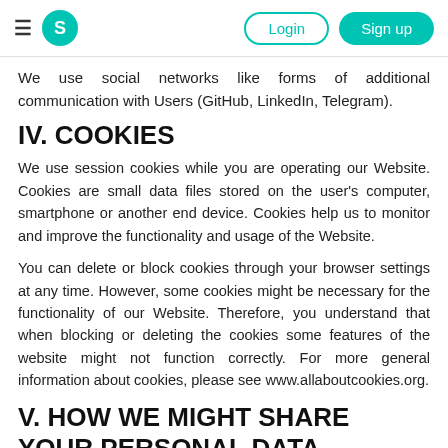S Login Sign up
We use social networks like forms of additional communication with Users (GitHub, LinkedIn, Telegram).
IV. COOKIES
We use session cookies while you are operating our Website. Cookies are small data files stored on the user's computer, smartphone or another end device. Cookies help us to monitor and improve the functionality and usage of the Website.
You can delete or block cookies through your browser settings at any time. However, some cookies might be necessary for the functionality of our Website. Therefore, you understand that when blocking or deleting the cookies some features of the website might not function correctly. For more general information about cookies, please see www.allaboutcookies.org.
V. HOW WE MIGHT SHARE YOUR PERSONAL DATA